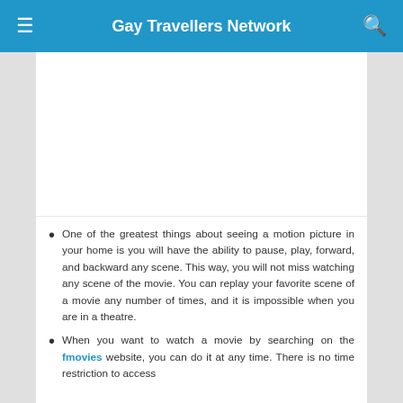Gay Travellers Network
[Figure (other): White advertisement banner area]
One of the greatest things about seeing a motion picture in your home is you will have the ability to pause, play, forward, and backward any scene. This way, you will not miss watching any scene of the movie. You can replay your favorite scene of a movie any number of times, and it is impossible when you are in a theatre.
When you want to watch a movie by searching on the fmovies website, you can do it at any time. There is no time restriction to access